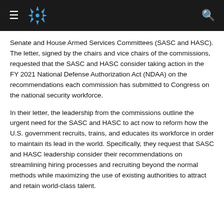≡ [logo] [search]
Senate and House Armed Services Committees (SASC and HASC). The letter, signed by the chairs and vice chairs of the commissions, requested that the SASC and HASC consider taking action in the FY 2021 National Defense Authorization Act (NDAA) on the recommendations each commission has submitted to Congress on the national security workforce.
In their letter, the leadership from the commissions outline the urgent need for the SASC and HASC to act now to reform how the U.S. government recruits, trains, and educates its workforce in order to maintain its lead in the world. Specifically, they request that SASC and HASC leadership consider their recommendations on streamlining hiring processes and recruiting beyond the normal methods while maximizing the use of existing authorities to attract and retain world-class talent.